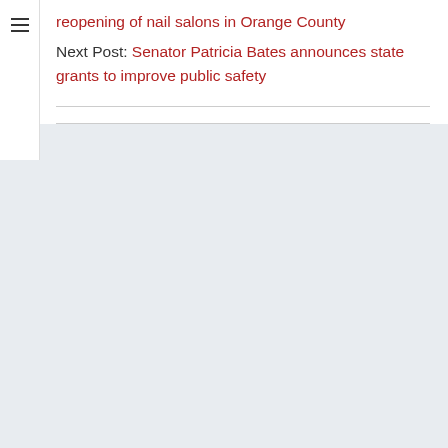reopening of nail salons in Orange County
Next Post: Senator Patricia Bates announces state grants to improve public safety